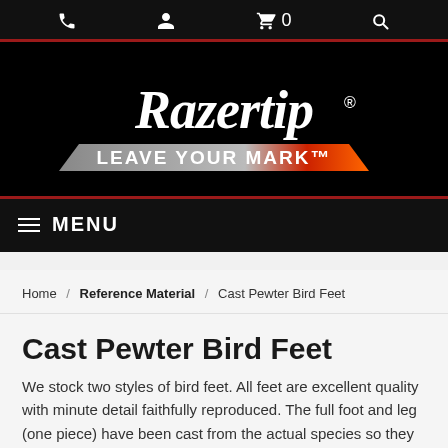[Figure (logo): Razertip logo with cursive white text on black background and 'LEAVE YOUR MARK™' tagline on a silver/red banner]
≡ MENU
Home / Reference Material / Cast Pewter Bird Feet
Cast Pewter Bird Feet
We stock two styles of bird feet. All feet are excellent quality with minute detail faithfully reproduced. The full foot and leg (one piece) have been cast from the actual species so they are great for reference if you want to make